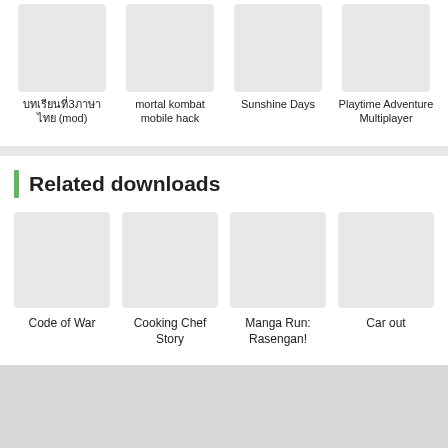บทเรียนที่3ภาษาไทย (mod)
mortal kombat mobile hack
Sunshine Days
Playtime Adventure Multiplayer
Related downloads
Code of War
Cooking Chef Story
Manga Run: Rasengan!
Car out